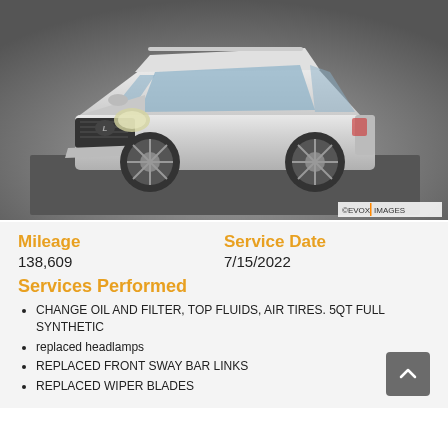[Figure (photo): Silver Lexus RX SUV on a dark gray studio background, three-quarter front view, photographed by EVOX Images]
Mileage
138,609
Service Date
7/15/2022
Services Performed
CHANGE OIL AND FILTER, TOP FLUIDS, AIR TIRES. 5QT FULL SYNTHETIC
replaced headlamps
REPLACED FRONT SWAY BAR LINKS
REPLACED WIPER BLADES